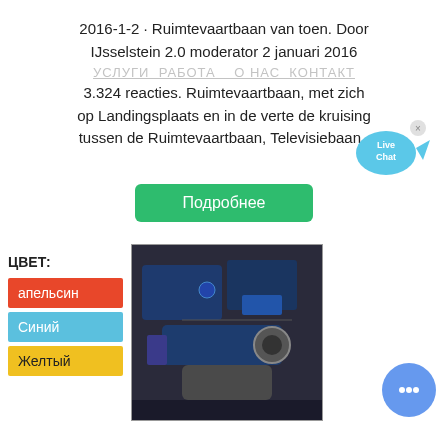2016-1-2 · Ruimtevaartbaan van toen. Door IJsselstein 2.0 moderator 2 januari 2016
УСЛУГИ  РАБОТА   О НАС  КОНТАКТ
3.324 reacties. Ruimtevaartbaan, met zich op Landingsplaats en in de verte de kruising tussen de Ruimtevaartbaan, Televisiebaan..
[Figure (other): Green button labeled Подробнее]
[Figure (other): Live Chat bubble icon top right]
ЦВЕТ:
апельсин
Синий
Желтый
[Figure (photo): Industrial machinery photo showing blue motor/engine components in dark workshop setting]
[Figure (other): Blue circular chat button with ellipsis icon at bottom right]